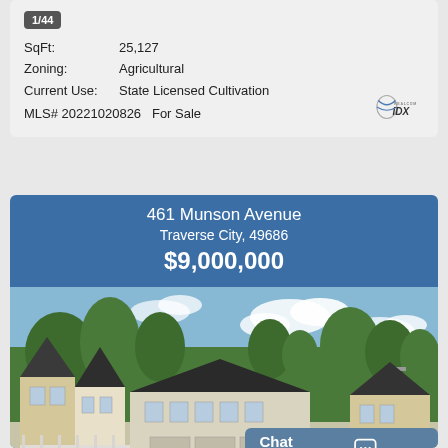1/44
SqFt: 25,127
Zoning: Agricultural
Current Use: State Licensed Cultivation
MLS# 20221020826  For Sale
[Figure (logo): Realcom IDX logo]
461 Munson Avenue
Traverse City, 49686
$9,000,000
[Figure (photo): Exterior photo of residential buildings/apartments with dark roofs, white and yellow siding, trees and blue sky in background]
Chat now